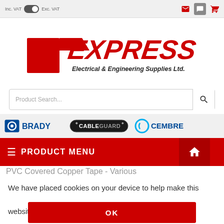Inc. VAT  Exc. VAT
[Figure (logo): Express Electrical & Engineering Supplies Ltd. logo with bold red stylized text and red block graphic]
Product Search...
[Figure (logo): Brand logos: Brady, Cable Guard, Cembre]
PRODUCT MENU
PVC Covered Copper Tape - Various
We have placed cookies on your device to help make this website better.
OK